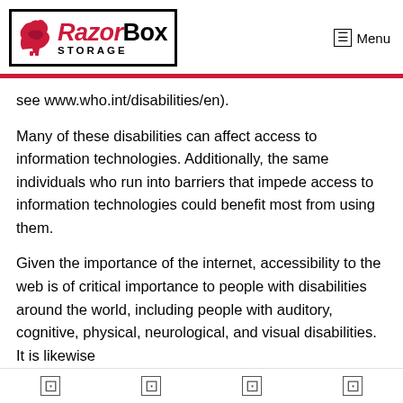[Figure (logo): RazorBox Storage logo with red Arkansas razorback icon and bold text]
≡ Menu
see www.who.int/disabilities/en).
Many of these disabilities can affect access to information technologies. Additionally, the same individuals who run into barriers that impede access to information technologies could benefit most from using them.
Given the importance of the internet, accessibility to the web is of critical importance to people with disabilities around the world, including people with auditory, cognitive, physical, neurological, and visual disabilities. It is likewise